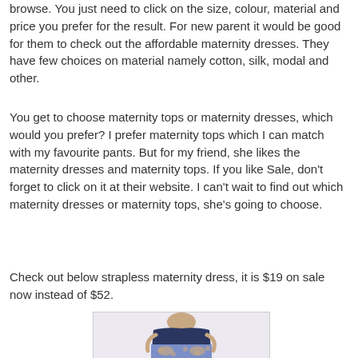browse. You just need to click on the size, colour, material and price you prefer for the result. For new parent it would be good for them to check out the affordable maternity dresses. They have few choices on material namely cotton, silk, modal and other.
You get to choose maternity tops or maternity dresses, which would you prefer? I prefer maternity tops which I can match with my favourite pants. But for my friend, she likes the maternity dresses and maternity tops. If you like Sale, don't forget to click on it at their website. I can't wait to find out which maternity dresses or maternity tops, she's going to choose.
Check out below strapless maternity dress, it is $19 on sale now instead of $52.
[Figure (photo): Photo of a pregnant woman wearing a strapless navy blue and patterned maternity dress, shown from torso down with hands on belly]